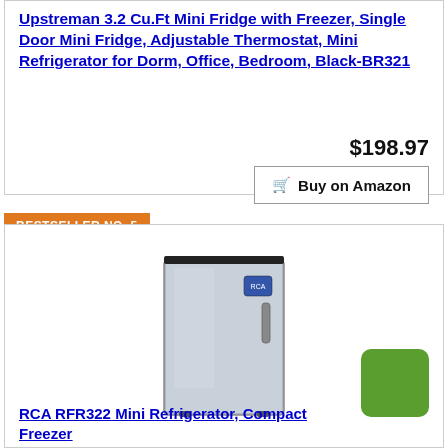Upstreman 3.2 Cu.Ft Mini Fridge with Freezer, Single Door Mini Fridge, Adjustable Thermostat, Mini Refrigerator for Dorm, Office, Bedroom, Black-BR321
$198.97
Buy on Amazon
BESTSELLER NO. 5
[Figure (photo): Silver/stainless steel compact mini refrigerator with black top trim and small brand logo on the door]
RCA RFR322 Mini Refrigerator, Compact Freezer